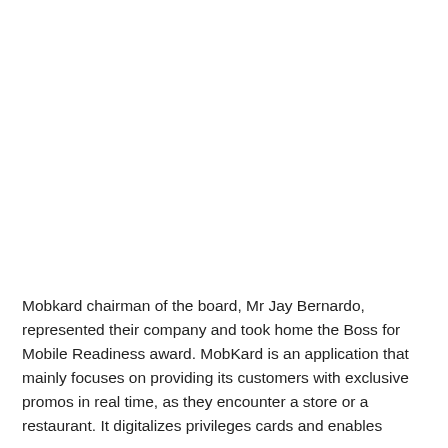Mobkard chairman of the board, Mr Jay Bernardo, represented their company and took home the Boss for Mobile Readiness award. MobKard is an application that mainly focuses on providing its customers with exclusive promos in real time, as they encounter a store or a restaurant. It digitalizes privileges cards and enables